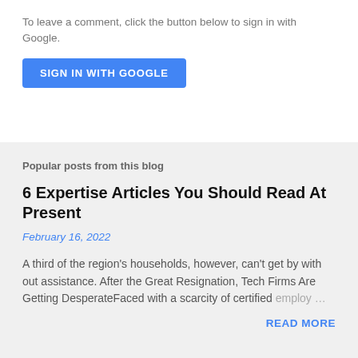To leave a comment, click the button below to sign in with Google.
[Figure (other): Blue 'SIGN IN WITH GOOGLE' button]
Popular posts from this blog
6 Expertise Articles You Should Read At Present
February 16, 2022
A third of the region's households, however, can't get by with out assistance. After the Great Resignation, Tech Firms Are Getting DesperateFaced with a scarcity of certified employ…
READ MORE